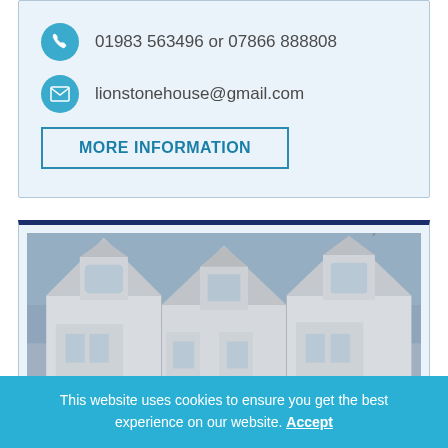01983 563496 or 07866 888808
lionstonehouse@gmail.com
MORE INFORMATION
[Figure (photo): Exterior photo of a white Victorian-style guesthouse with three gable dormers and bay windows against a blue sky]
This website uses cookies to ensure you get the best experience on our website. Accept